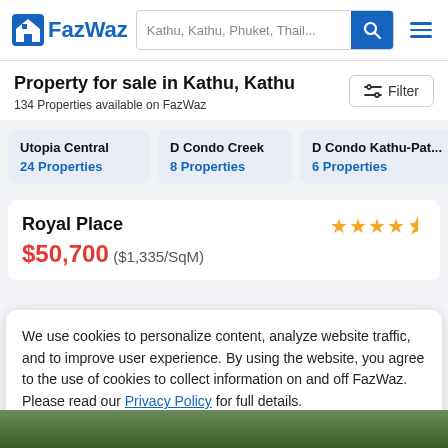FazWaz — Kathu, Kathu, Phuket, Thail...
Property for sale in Kathu, Kathu
134 Properties available on FazWaz
Utopia Central — 24 Properties
D Condo Creek — 8 Properties
D Condo Kathu-Pat... — 6 Properties
Royal Place
$50,700 ($1,335/SqM)
We use cookies to personalize content, analyze website traffic, and to improve user experience. By using the website, you agree to the use of cookies to collect information on and off FazWaz. Please read our Privacy Policy for full details.